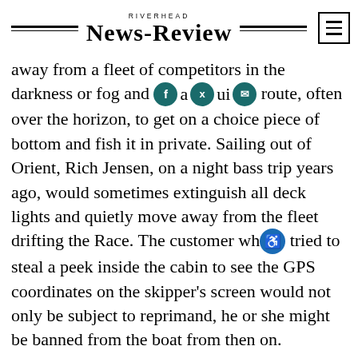RIVERHEAD NEWS-REVIEW
away from a fleet of competitors in the darkness or fog and [social icons] a qui[ck] route, often over the horizon, to get on a choice piece of bottom and fish it in private. Sailing out of Orient, Rich Jensen, on a night bass trip years ago, would sometimes extinguish all deck lights and quietly move away from the fleet drifting the Race. The customer who tried to steal a peek inside the cabin to see the GPS coordinates on the skipper's screen would not only be subject to reprimand, he or she might be banned from the boat from then on.

Now, of course, all one has to do is sneak a cellphone with GPS from a pocket and click a couple of times to record